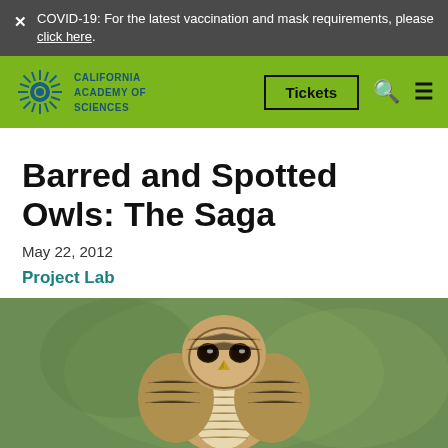× COVID-19: For the latest vaccination and mask requirements, please click here.
[Figure (logo): California Academy of Sciences logo with green sunflower-like emblem and navigation bar including Tickets button, search icon, and hamburger menu]
Barred and Spotted Owls: The Saga
May 22, 2012
Project Lab
[Figure (photo): Close-up photograph of a barred owl perched, showing brown and white barred plumage and dark eyes, against a green blurred background]